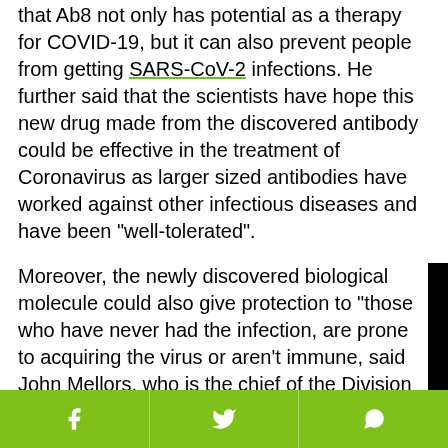that Ab8 not only has potential as a therapy for COVID-19, but it can also prevent people from getting SARS-CoV-2 infections. He further said that the scientists have hope this new drug made from the discovered antibody could be effective in the treatment of Coronavirus as larger sized antibodies have worked against other infectious diseases and have been "well-tolerated".
Moreover, the newly discovered biological molecule could also give protection to "those who have never had the infection, are prone to acquiring the virus or aren't immune, said John Mellors, who is the chief of the Division of Infectious Diseases at the University of Pittsburgh Medical Center. He also said that researchers and scientists at the university are expected to reveal more
[Figure (screenshot): Video player overlay partially covering the article text, showing a black panel with a play button (red triangle) and a loading spinner circle. A small grey close button with 'x' is visible at the top.]
Social sharing bar with Facebook, Twitter, and WhatsApp icons on green background